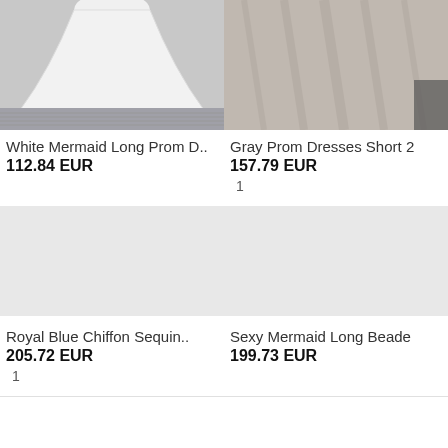[Figure (photo): White mermaid dress bottom half on gray carpet]
White Mermaid Long Prom D..
112.84 EUR
[Figure (photo): Gray prom dress fabric close-up]
Gray Prom Dresses Short 2
157.79 EUR
1
[Figure (photo): Royal Blue Chiffon Sequin dress placeholder]
Royal Blue Chiffon Sequin..
205.72 EUR
1
[Figure (photo): Sexy Mermaid Long Beaded dress placeholder]
Sexy Mermaid Long Beade
199.73 EUR